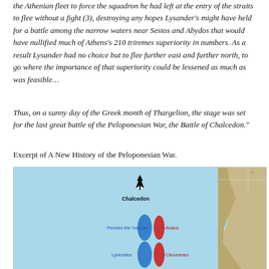the Athenian fleet to force the squadron he had left at the entry of the straits to flee without a fight (3), destroying any hopes Lysander's might have held for a battle among the narrow waters near Sestos and Abydos that would have nullified much of Athens's 210 triremes superiority in numbers. As a result Lysander had no choice but to flee further east and further north, to go where the importance of that superiority could be lessened as much as was feasible…
Thus, on a sunny day of the Greek month of Thargelion, the stage was set for the last great battle of the Peloponesian War, the Battle of Chalcedon."
Excerpt of A New History of the Peloponesian War.
[Figure (map): A map showing the Battle of Chalcedon with a north arrow pointing to Chalcedon city label, blue oval shapes representing Athenian fleet formations labeled 'Pericles the Younger' and 'Lysicrates', and red oval shapes representing Spartan fleet labeled 'Aratus' and 'Cleomedes', set against a light blue water background with coastal terrain on the right side.]